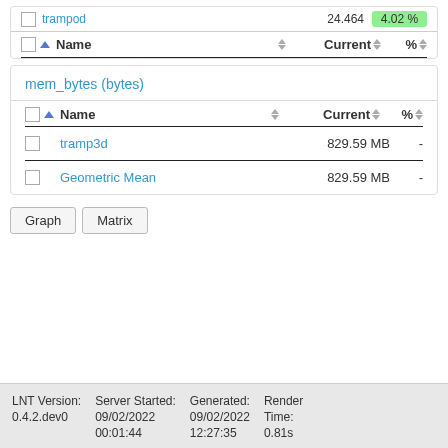| Name | Current | % |
| --- | --- | --- |
| trampod | 24.464 | 4.02% |
mem_bytes (bytes)
| Name | Current | % |
| --- | --- | --- |
| tramp3d | 829.59 MB | - |
| Geometric Mean | 829.59 MB | - |
Graph  Matrix
LNT Version: 0.4.2.dev0  Server Started: 09/02/2022 00:01:44  Generated: 09/02/2022 12:27:35  Render Time: 0.81s